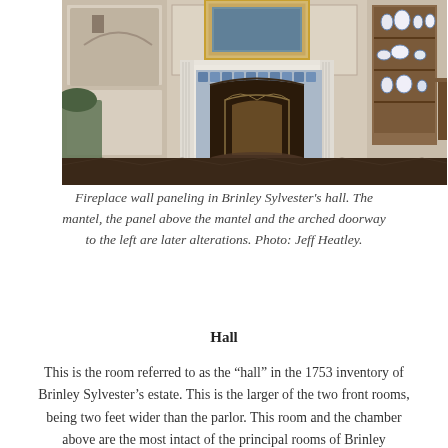[Figure (photo): Interior photograph of fireplace wall paneling in Brinley Sylvester's hall, showing a white marble mantel with an arched fireplace opening surrounded by blue tiles, an ornate brass/iron fireplace screen, flanking fluted pilasters, paneled walls, a painting above the mantel in a gilded frame, a wooden bookcase/shelf unit on the right with porcelain pieces, hardwood parquet floor, and a green upholstered chair partially visible on the left.]
Fireplace wall paneling in Brinley Sylvester's hall. The mantel, the panel above the mantel and the arched doorway to the left are later alterations. Photo: Jeff Heatley.
Hall
This is the room referred to as the “hall” in the 1753 inventory of Brinley Sylvester’s estate. This is the larger of the two front rooms, being two feet wider than the parlor. This room and the chamber above are the most intact of the principal rooms of Brinley Sylvester’s house. Most of the fielded paneling, the fluted pilasters flanking the fireplace, the cornice moldings and the architrave moldings around the